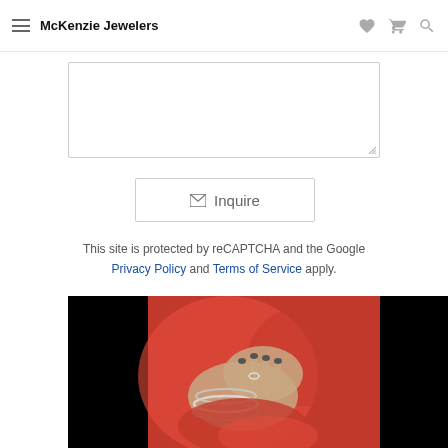McKenzie Jewelers
[Figure (screenshot): Text area input box (empty) for inquiry form]
[Figure (screenshot): Inquire button with envelope icon]
This site is protected by reCAPTCHA and the Google Privacy Policy and Terms of Service apply.
[Figure (photo): Hands of a woman wearing silver bangles and rings, wearing a red outfit, on a dark background]